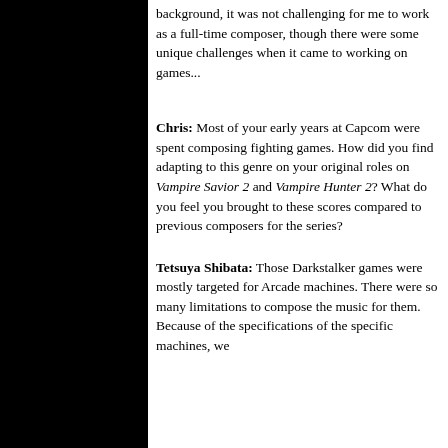background, it was not challenging for me to work as a full-time composer, though there were some unique challenges when it came to working on games...
Chris: Most of your early years at Capcom were spent composing fighting games. How did you find adapting to this genre on your original roles on Vampire Savior 2 and Vampire Hunter 2? What do you feel you brought to these scores compared to previous composers for the series?
Tetsuya Shibata: Those Darkstalker games were mostly targeted for Arcade machines. There were so many limitations to compose the music for them. Because of the specifications of the specific machines, we